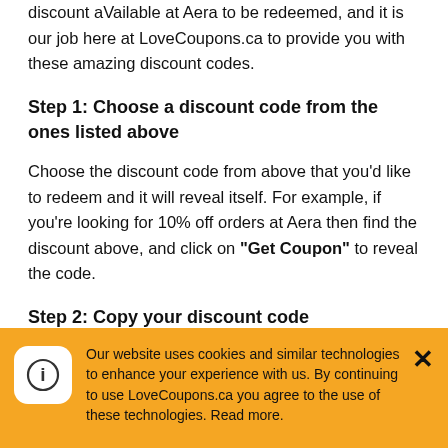discount aVailable at Aera to be redeemed, and it is our job here at LoveCoupons.ca to provide you with these amazing discount codes.
Step 1: Choose a discount code from the ones listed above
Choose the discount code from above that you’d like to redeem and it will reveal itself. For example, if you’re looking for 10% off orders at Aera then find the discount above, and click on “Get Coupon” to reveal the code.
Step 2: Copy your discount code
Simply copy the code that is presented to you. You need this code in order to inform Aera to
Our website uses cookies and similar technologies to enhance your experience with us. By continuing to use LoveCoupons.ca you agree to the use of these technologies. Read more.